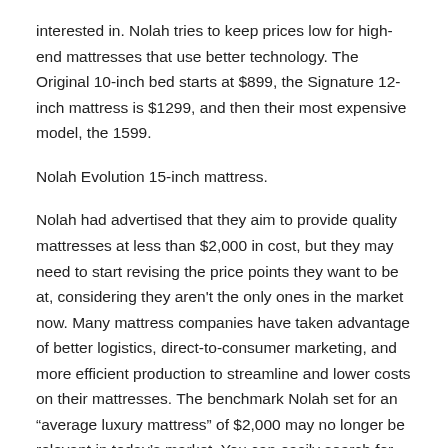interested in. Nolah tries to keep prices low for high-end mattresses that use better technology. The Original 10-inch bed starts at $899, the Signature 12-inch mattress is $1299, and then their most expensive model, the 1599.
Nolah Evolution 15-inch mattress.
Nolah had advertised that they aim to provide quality mattresses at less than $2,000 in cost, but they may need to start revising the price points they want to be at, considering they aren't the only ones in the market now. Many mattress companies have taken advantage of better logistics, direct-to-consumer marketing, and more efficient production to streamline and lower costs on their mattresses. The benchmark Nolah set for an “average luxury mattress” of $2,000 may no longer be relevant in today’s market. You can easily search for mattress retailers and direct sellers and find many suitable mattresses with similar purported benefits at the same or even lower cost.